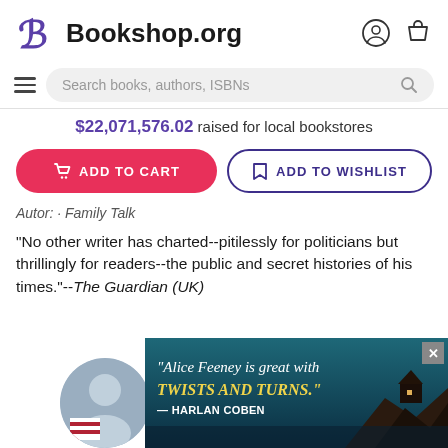Bookshop.org
Search books, authors, ISBNs
$22,071,576.02 raised for local bookstores
ADD TO CART
ADD TO WISHLIST
"No other writer has charted--pitilessly for politicians but thrillingly for readers--the public and secret histories of his times."--The Guardian (UK)
[Figure (photo): Advertisement banner for Alice Feeney book with quote: 'Alice Feeney is great with TWISTS AND TURNS.' — HARLAN COBEN, dark teal coastal background with house on cliff]